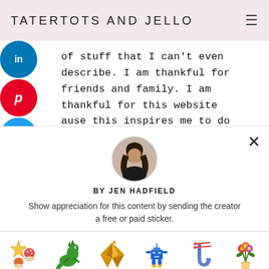TATERTOTS AND JELLO
of stuff that I can't even describe. I am thankful for friends and family. I am thankful for this website because this inspires me to do more creative things. I have lately had trouble with my room and now that I
[Figure (photo): Circular author photo of Jen Hadfield]
BY JEN HADFIELD
Show appreciation for this content by sending the creator a free or paid sticker.
[Figure (infographic): Row of sticker images with prices: Free, $1.00, $2.00, $4.00, $8.00, $12.00]